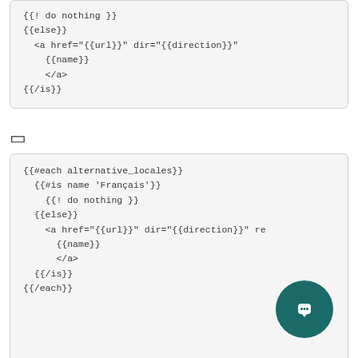{{! do nothing }}
{{else}}
  <a href="{{url}}" dir="{{direction}}"
    {{name}}
    </a>
{{/is}}
[]
{{#each alternative_locales}}
  {{#is name 'Français'}}
    {{! do nothing }}
  {{else}}
    <a href="{{url}}" dir="{{direction}}" re
      {{name}}
      </a>
  {{/is}}
{{/each}}